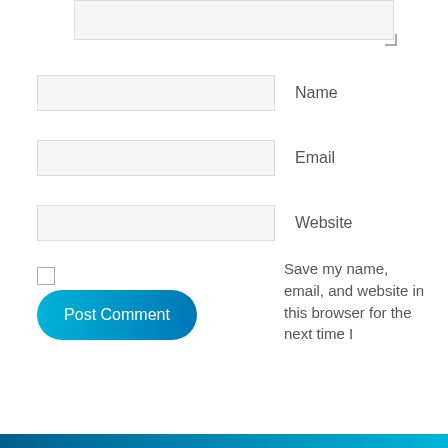[Figure (screenshot): Textarea input box (comment field) at top, partially visible, with resize handle at bottom-right corner]
Name
Email
Website
Save my name, email, and website in this browser for the next time I
Post Comment
[Figure (other): Teal/blue gradient horizontal bar at the bottom of the page]